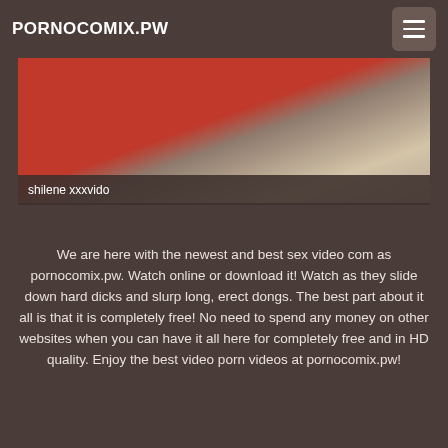PORNOCOMIX.PW
[Figure (photo): Partial view of a person wearing a red top, cropped image with muted background tones]
shilene xxxvido
We are here with the newest and best sex video com as pornocomix.pw. Watch online or download it! Watch as they slide down hard dicks and slurp long, erect dongs. The best part about it all is that it is completely free! No need to spend any money on other websites when you can have it all here for completely free and in HD quality. Enjoy the best video porn videos at pornocomix.pw!